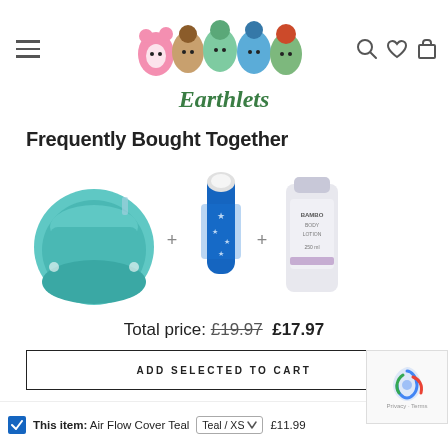[Figure (logo): Earthlets logo with cartoon characters (a pink bear, brown acorn, green plant, blue spiky hair, and red-haired figure) above the text 'Earthlets' in green letters]
Frequently Bought Together
[Figure (photo): Three product images in a row: a teal cloth diaper/nappy cover on the left, a blue star-patterned roll-on product in the center, and a Bambo Nature Body Lotion tube on the right, separated by plus signs]
Total price: £19.97 £17.97
ADD SELECTED TO CART
This item: Air Flow Cover Teal  Teal / XS  £11.99